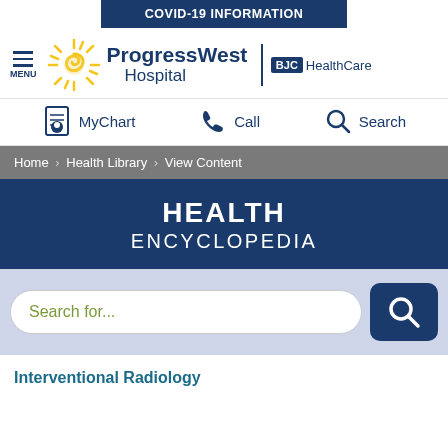COVID-19 INFORMATION
[Figure (logo): ProgressWest Hospital logo with sun graphic and BJC HealthCare logo]
MyChart   Call   Search
Home > Health Library > View Content
HEALTH ENCYCLOPEDIA
Search for...
Interventional Radiology